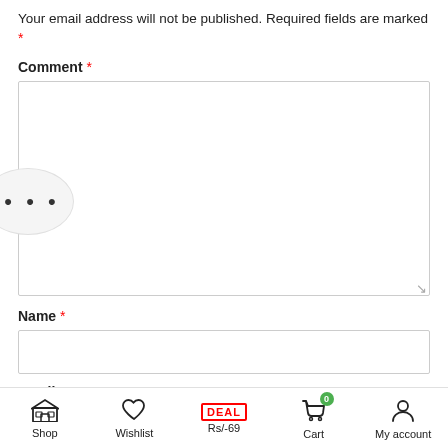Your email address will not be published. Required fields are marked *
Comment *
[Figure (screenshot): Large empty comment textarea input field with resize handle]
Name *
[Figure (screenshot): Empty name input field]
Email *
Shop | Wishlist | DEAL Rs/-69 | Cart (0) | My account